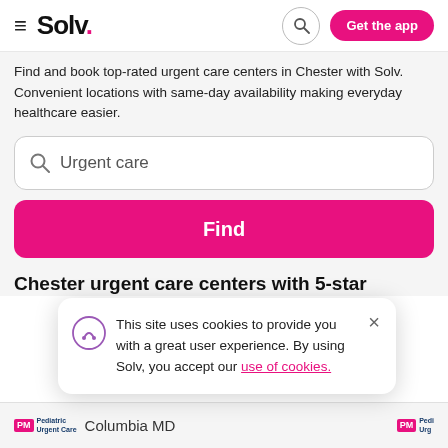[Figure (screenshot): Solv. navigation bar with hamburger menu, logo, search icon, and Get the app button]
Find and book top-rated urgent care centers in Chester with Solv. Convenient locations with same-day availability making everyday healthcare easier.
[Figure (screenshot): Search input box with search icon and placeholder text 'Urgent care']
Find
Chester urgent care centers with 5-star
This site uses cookies to provide you with a great user experience. By using Solv, you accept our use of cookies.
Columbia MD